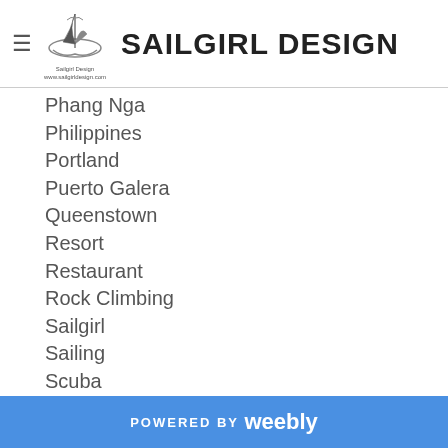SAILGIRL DESIGN
Phang Nga
Philippines
Portland
Puerto Galera
Queenstown
Resort
Restaurant
Rock Climbing
Sailgirl
Sailing
Scuba
Sea
Seafood
Sightseeing
Singapore
POWERED BY weebly